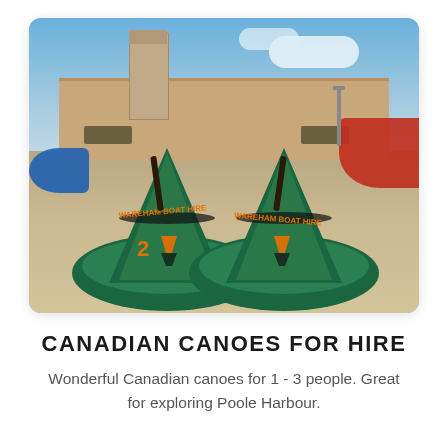[Figure (photo): Two green Canadian canoes with 'Wareham Boat Hire' branding on a gravel shore, with benches, a stone wall, church tower, and blue sky in the background. Blue kayaks visible on the left, red boat on the right.]
CANADIAN CANOES FOR HIRE
Wonderful Canadian canoes for 1 - 3 people. Great for exploring Poole Harbour.